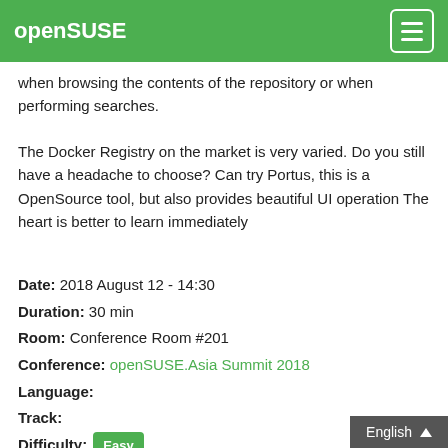openSUSE
when browsing the contents of the repository or when performing searches.
The Docker Registry on the market is very varied. Do you still have a headache to choose? Can try Portus, this is a OpenSource tool, but also provides beautiful UI operation The heart is better to learn immediately
Date: 2018 August 12 - 14:30
Duration: 30 min
Room: Conference Room #201
Conference: openSUSE.Asia Summit 2018
Language:
Track:
Difficulty: Easy
Requires Registration: Yes (Registered: 4)
Happening at the same time:
Digital Literacy and OpenSource in developing countries like Nepal